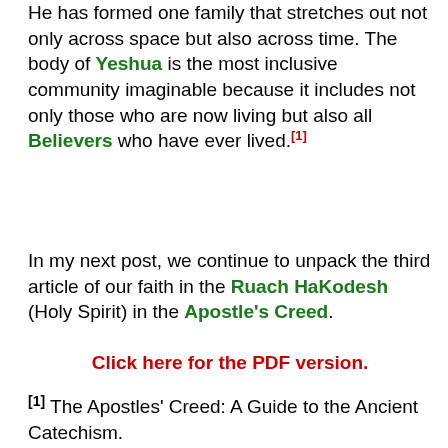He has formed one family that stretches out not only across space but also across time. The body of Yeshua is the most inclusive community imaginable because it includes not only those who are now living but also all Believers who have ever lived.[1]
In my next post, we continue to unpack the third article of our faith in the Ruach HaKodesh (Holy Spirit) in the Apostle's Creed.
Click here for the PDF version.
[1] The Apostles' Creed: A Guide to the Ancient Catechism.